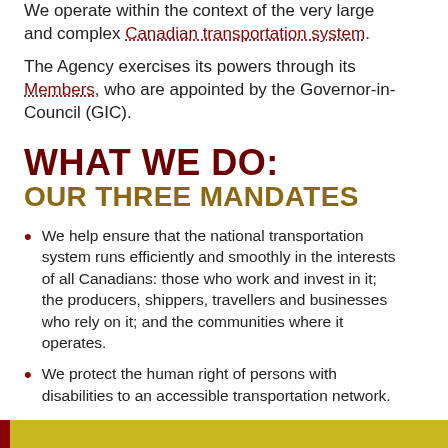We operate within the context of the very large and complex Canadian transportation system.
The Agency exercises its powers through its Members, who are appointed by the Governor-in-Council (GIC).
WHAT WE DO: OUR THREE MANDATES
We help ensure that the national transportation system runs efficiently and smoothly in the interests of all Canadians: those who work and invest in it; the producers, shippers, travellers and businesses who rely on it; and the communities where it operates.
We protect the human right of persons with disabilities to an accessible transportation network.
We provide consumer protection for air passengers.